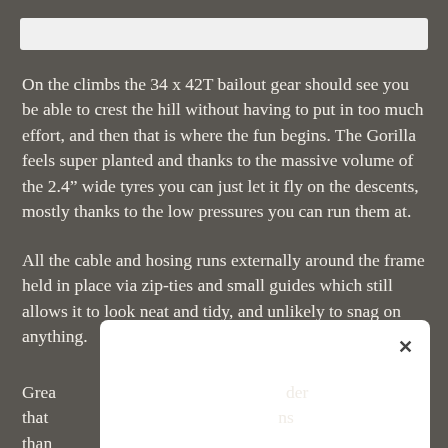On the climbs the 34 x 42T bailout gear should see you be able to crest the hill without having to put in too much effort, and then that is where the fun begins. The Gorilla feels super planted and thanks to the massive volume of the 2.4” wide tyres you can just let it fly on the descents, mostly thanks to the low pressures you can run them at.
All the cable and hosing runs externally around the frame held in place via zip-ties and small guides which still allows it to look neat and tidy, and unlikely to snag on anything.
Grea…der that…ns than…